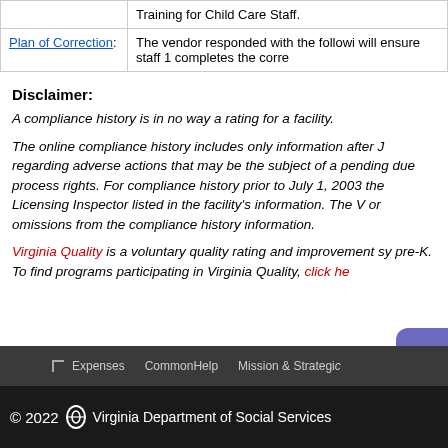|  |  |
| --- | --- |
|  | Training for Child Care Staff. |
| Plan of Correction: | The vendor responded with the following will ensure staff 1 completes the corre |
Disclaimer:
A compliance history is in no way a rating for a facility.
The online compliance history includes only information after J regarding adverse actions that may be the subject of a pending due process rights. For compliance history prior to July 1, 2003 the Licensing Inspector listed in the facility's information. The V or omissions from the compliance history information.
Virginia Quality is a voluntary quality rating and improvement sy pre-K. To find programs participating in Virginia Quality, click he
© 2022 Virginia Department of Social Services